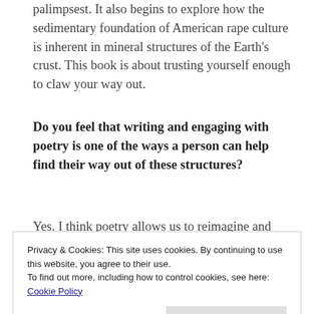palimpsest. It also begins to explore how the sedimentary foundation of American rape culture is inherent in mineral structures of the Earth's crust. This book is about trusting yourself enough to claw your way out.
Do you feel that writing and engaging with poetry is one of the ways a person can help find their way out of these structures?
Yes. I think poetry allows us to reimagine and reshape how we perceive language, and the
Privacy & Cookies: This site uses cookies. By continuing to use this website, you agree to their use.
To find out more, including how to control cookies, see here: Cookie Policy
with diction or meter can lead to creative